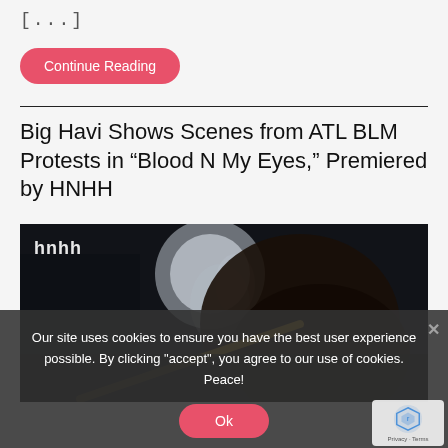[...]
Continue Reading
Big Havi Shows Scenes from ATL BLM Protests in “Blood N My Eyes,” Premiered by HNHH
[Figure (photo): Dark music video still showing a person with dreadlocks, with smoke and dark atmospheric lighting. White text 'hnhh' visible in upper left corner.]
Our site uses cookies to ensure you have the best user experience possible. By clicking "accept", you agree to our use of cookies. Peace!
Ok